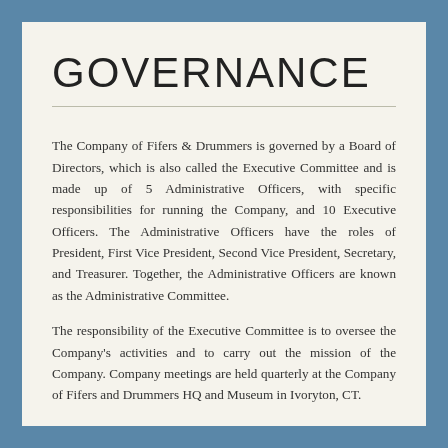GOVERNANCE
The Company of Fifers & Drummers is governed by a Board of Directors, which is also called the Executive Committee and is made up of 5 Administrative Officers, with specific responsibilities for running the Company, and 10 Executive Officers. The Administrative Officers have the roles of President, First Vice President, Second Vice President, Secretary, and Treasurer. Together, the Administrative Officers are known as the Administrative Committee.
The responsibility of the Executive Committee is to oversee the Company's activities and to carry out the mission of the Company. Company meetings are held quarterly at the Company of Fifers and Drummers HQ and Museum in Ivoryton, CT.